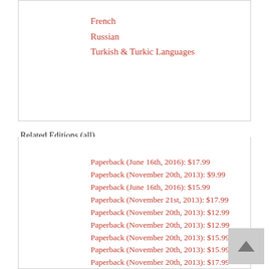French
Russian
Turkish & Turkic Languages
Related Editions (all)
Paperback (June 16th, 2016): $17.99
Paperback (November 20th, 2013): $9.99
Paperback (June 16th, 2016): $15.99
Paperback (November 21st, 2013): $17.99
Paperback (November 20th, 2013): $12.99
Paperback (November 20th, 2013): $12.99
Paperback (November 20th, 2013): $15.99
Paperback (November 20th, 2013): $15.99
Paperback (November 20th, 2013): $17.99
Paperback (November 21st, 2013): $9.99
Paperback (December 28th, 2013): $17.99
Paperback (November 21st, 2013): $9.99
Paperback (December 28th, 2013): $15.99
Paperback (November 21st, 2013): $12.99
Paperback (December 28th, 2013): $15.99
Paperback (November 21st, 2013): $9.99